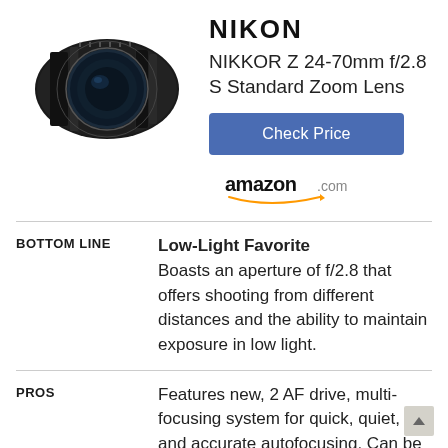NIKON
NIKKOR Z 24-70mm f/2.8 S Standard Zoom Lens
[Figure (photo): Photo of a Nikon NIKKOR Z 24-70mm f/2.8 S camera lens, black, shown from a slight angle]
Check Price
[Figure (logo): Amazon.com logo with smile arrow]
BOTTOM LINE
Low-Light Favorite
Boasts an aperture of f/2.8 that offers shooting from different distances and the ability to maintain exposure in low light.
PROS
Features new, 2 AF drive, multi-focusing system for quick, quiet, and accurate autofocusing. Can be used for a variety of photo and